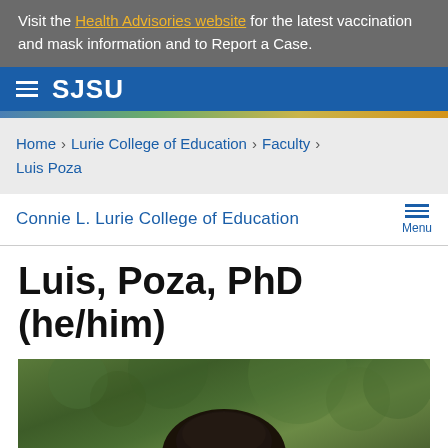Visit the Health Advisories website for the latest vaccination and mask information and to Report a Case.
SJSU
Home > Lurie College of Education > Faculty > Luis Poza
Connie L. Lurie College of Education
Luis, Poza, PhD (he/him)
[Figure (photo): Portrait photo of Luis Poza outdoors with green foliage in background, showing top of head/hair]